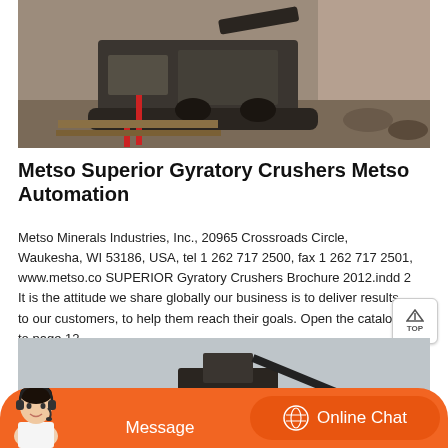[Figure (photo): Industrial mining/crushing machinery on a job site, showing a large piece of equipment with tracks on dirt/gravel ground near a rock wall or cliff face.]
Metso Superior Gyratory Crushers Metso Automation
Metso Minerals Industries, Inc., 20965 Crossroads Circle, Waukesha, WI 53186, USA, tel 1 262 717 2500, fax 1 262 717 2501, www.metso.co SUPERIOR Gyratory Crushers Brochure 2012.indd 2 It is the attitude we share globally our business is to deliver results to our customers, to help them reach their goals. Open the catalog to page 12
[Figure (photo): Large industrial gyratory crusher or similar heavy mining equipment photographed outdoors against a grey sky.]
Message
Online Chat